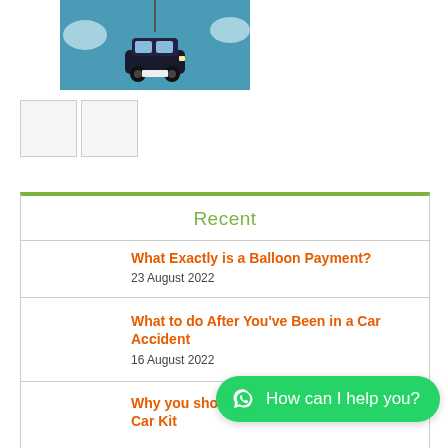[Figure (illustration): Car hanging from a rope illustration on blue background, car insurance related image]
[Figure (illustration): Two small thumbnail images in a strip below the main image]
Recent
What Exactly is a Balloon Payment?
23 August 2022
What to do After You've Been in a Car Accident
16 August 2022
Why you should have an Emergency Car Kit
How can I help you?